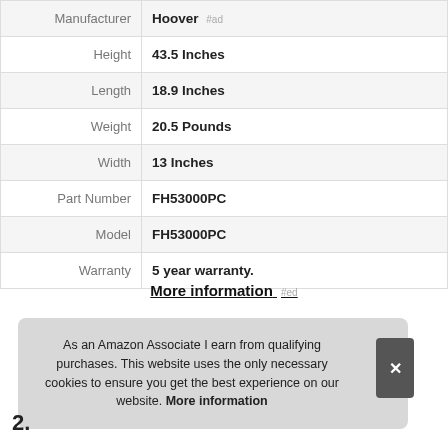| Attribute | Value |
| --- | --- |
| Manufacturer | Hoover #ad |
| Height | 43.5 Inches |
| Length | 18.9 Inches |
| Weight | 20.5 Pounds |
| Width | 13 Inches |
| Part Number | FH53000PC |
| Model | FH53000PC |
| Warranty | 5 year warranty. |
More information #ed
As an Amazon Associate I earn from qualifying purchases. This website uses the only necessary cookies to ensure you get the best experience on our website. More information
2.